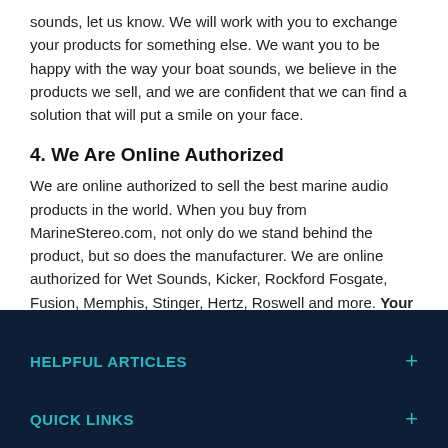sounds, let us know. We will work with you to exchange your products for something else. We want you to be happy with the way your boat sounds, we believe in the products we sell, and we are confident that we can find a solution that will put a smile on your face.
4. We Are Online Authorized
We are online authorized to sell the best marine audio products in the world. When you buy from MarineStereo.com, not only do we stand behind the product, but so does the manufacturer. We are online authorized for Wet Sounds, Kicker, Rockford Fosgate, Fusion, Memphis, Stinger, Hertz, Roswell and more. Your warranty is valid and you are protected.
HELPFUL ARTICLES +
QUICK LINKS +